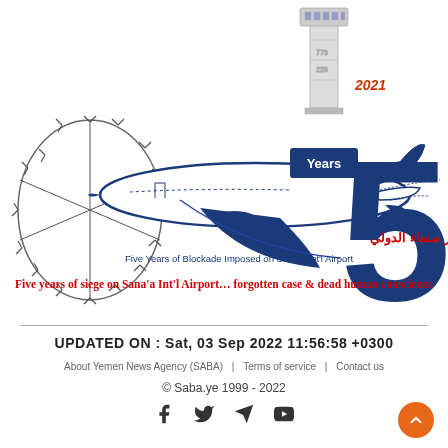[Figure (illustration): Illustration showing a large blue airplane with a control tower behind it, surrounded by barbed wire on the left, a large blue '5' with 'Years' text, '2021' in red, Arabic text 'أعوام من الحصار الجوي على مطار صنعاء الدولي' in red, and English subtitle 'Five Years of Blockade Imposed on Sana'a Int'l Airport' in dark blue.]
Five years of siege on Sana'a Int'l Airport… forgotten case & dead human conscience
UPDATED ON : Sat, 03 Sep 2022 11:56:58 +0300
About Yemen News Agency (SABA) | Terms of service | Contact us
© Saba.ye 1999 - 2022